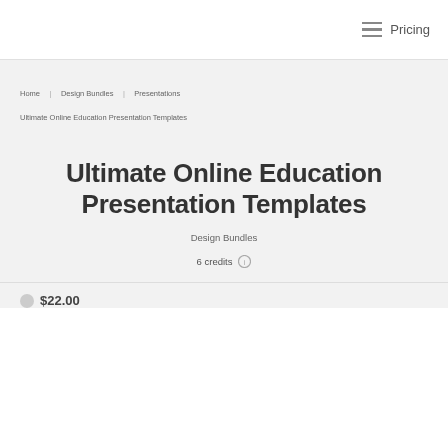Pricing
Home   Design Bundles   Presentations
Ultimate Online Education Presentation Templates
Ultimate Online Education Presentation Templates
Design Bundles
6 credits
$22.00